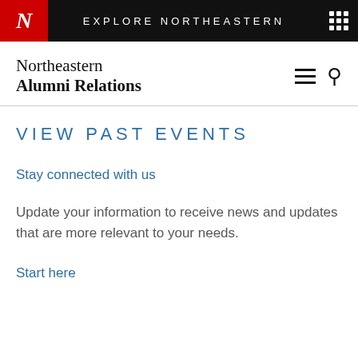EXPLORE NORTHEASTERN
Northeastern Alumni Relations
VIEW PAST EVENTS
Stay connected with us
Update your information to receive news and updates that are more relevant to your needs.
Start here